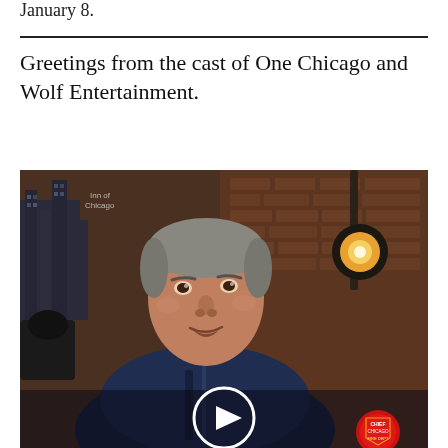January 8.
Greetings from the cast of One Chicago and Wolf Entertainment.
[Figure (photo): Video thumbnail showing a man in a dark navy Chicago Fire jacket seated in front of a brick wall background with a studio light. A white play button circle is overlaid at the bottom center of the image. A Chicago Fire badge is visible at the bottom right.]